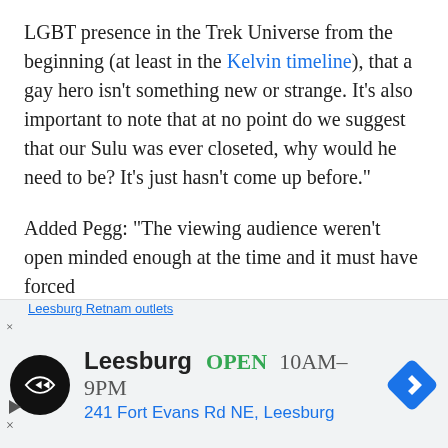LGBT presence in the Trek Universe from the beginning (at least in the Kelvin timeline), that a gay hero isn't something new or strange. It's also important to note that at no point do we suggest that our Sulu was ever closeted, why would he need to be? It's just hasn't come up before."
Added Pegg: “The viewing audience weren't open minded enough at the time and it must have forced
[Figure (screenshot): Advertisement banner at bottom of page: Leesburg store ad with infinity loop logo, showing OPEN 10AM-9PM, 241 Fort Evans Rd NE, Leesburg, with navigation diamond icon]